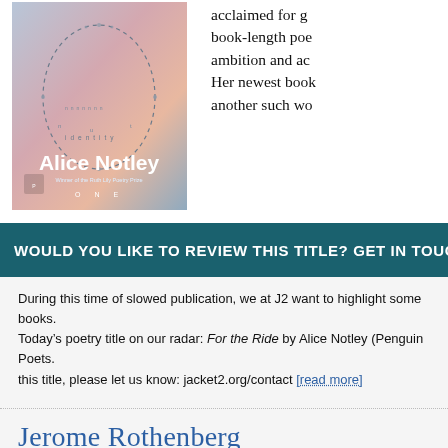[Figure (illustration): Book cover of 'For the Ride / Identity' by Alice Notley, published by Penguin Poets. Winner of the Ruth Lily Poetry Prize. Cover has a gradient background (peach/pink/blue) with a dashed oval pattern and small dots.]
acclaimed for g... book-length poe... ambition and ac... Her newest book another such wo...
WOULD YOU LIKE TO REVIEW THIS TITLE? GET IN TOUCH!
During this time of slowed publication, we at J2 want to highlight some books. Today’s poetry title on our radar: For the Ride by Alice Notley (Penguin Poets. this title, please let us know: jacket2.org/contact [read more]
Jerome Rothenberg
For Michael McClure, a memorial and tribute